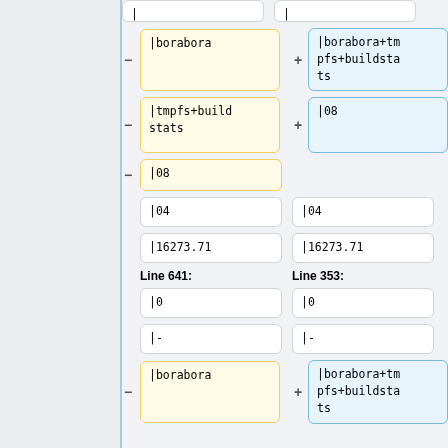[Figure (other): Diff view showing two columns of code cells. Left column has yellow-highlighted cells (removed), right column has blue-highlighted cells (added). Top partial row shows '|-' in both columns.]
[Figure (other): Diff row: left cell (yellow, minus) '|borabora', right cell (blue, plus) '|borabora+tmpfs+buildstats']
[Figure (other): Diff row: left cell (yellow, minus) '|tmpfs+buildstats', right cell (blue, plus) '|08']
[Figure (other): Diff row: left cell (yellow, minus) '|08', no right cell]
[Figure (other): Neutral row: left cell '|04', right cell '|04']
[Figure (other): Neutral row: left cell '|16273.71', right cell '|16273.71']
Line 641:
Line 353:
[Figure (other): Neutral row: left cell '|0', right cell '|0']
[Figure (other): Neutral row: left cell '|-', right cell '|-']
[Figure (other): Diff row: left cell (yellow, minus) '|borabora', right cell (blue, plus) '|borabora+tmpfs+buildstats']